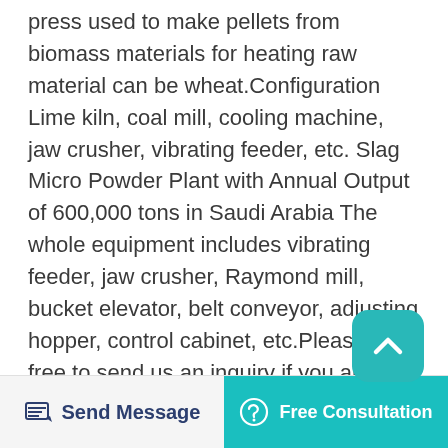press used to make pellets from biomass materials for heating raw material can be wheat.Configuration Lime kiln, coal mill, cooling machine, jaw crusher, vibrating feeder, etc. Slag Micro Powder Plant with Annual Output of 600,000 tons in Saudi Arabia The whole equipment includes vibrating feeder, jaw crusher, Raymond mill, bucket elevator, belt conveyor, adjusting hopper, control cabinet, etc.Please feel free to send us an inquiry if you any question about straw pellet making machines or what to know details of our machinery Benefits from Straw Pellet Making Production. Straw is a common kind of agricultural waste including rice straw, wheat straw, corn straw etc. Plenty of straw wastes will be generated at harvesting time.The
[Figure (other): Teal rounded square scroll-to-top button with upward chevron icon]
Send Message   Free Consultation